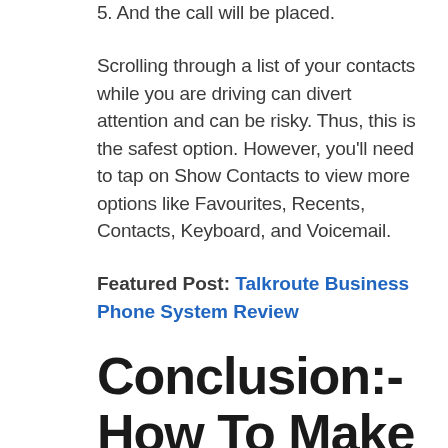5. And the call will be placed.
Scrolling through a list of your contacts while you are driving can divert attention and can be risky. Thus, this is the safest option. However, you'll need to tap on Show Contacts to view more options like Favourites, Recents, Contacts, Keyboard, and Voicemail.
Featured Post: Talkroute Business Phone System Review
Conclusion:- How To Make A Phone Call With CarPlay?